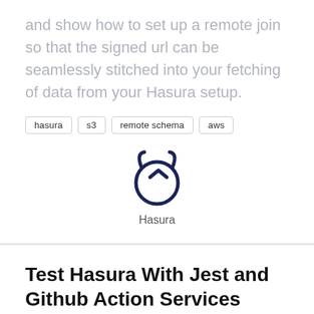and show how to set up a remote join so that the signed url can be seamlessly stitched into your fetching of data from your Hasura setup.
hasura
s3
remote schema
aws
[Figure (logo): Hasura logo — a dark navy devil/horned face icon with a right-angle bracket inside, labeled 'Hasura' beneath]
Test Hasura With Jest and Github Action Services
Jason Brown
For complete test coverage within